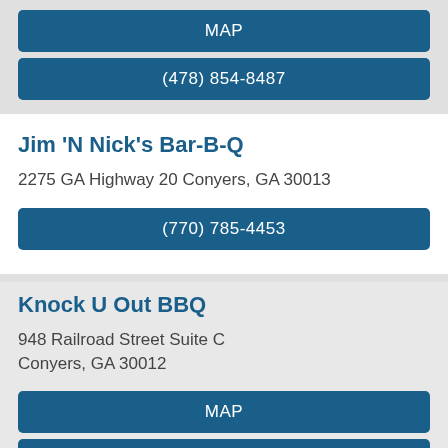MAP
(478) 854-8487
Jim 'N Nick's Bar-B-Q
2275 GA Highway 20 Conyers, GA 30013
(770) 785-4453
Knock U Out BBQ
948 Railroad Street Suite C
Conyers, GA 30012
MAP
(404) 597-0461